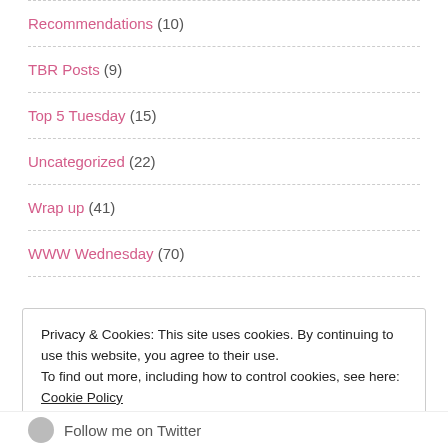Recommendations (10)
TBR Posts (9)
Top 5 Tuesday (15)
Uncategorized (22)
Wrap up (41)
WWW Wednesday (70)
Privacy & Cookies: This site uses cookies. By continuing to use this website, you agree to their use.
To find out more, including how to control cookies, see here: Cookie Policy
Follow me on Twitter